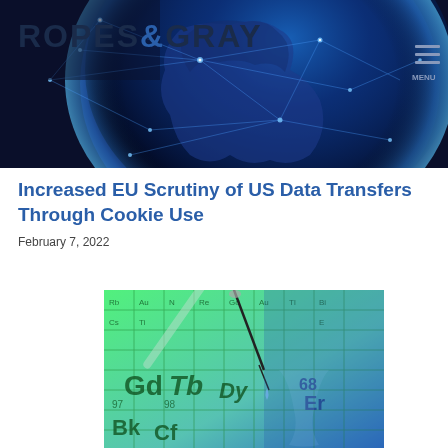[Figure (photo): Ropes & Gray law firm website header banner showing a globe with digital network connections overlaid, with the firm logo 'ROPES & GRAY' in dark blue text on the left and a MENU icon on the right]
Increased EU Scrutiny of US Data Transfers Through Cookie Use
February 7, 2022
[Figure (photo): Scientific/chemistry laboratory image showing a periodic table of elements in green tones with laboratory glassware and a dropper/pipette adding liquid to a beaker, with element symbols visible including Gd, Tb, Bk, Cf, Er, Bi]